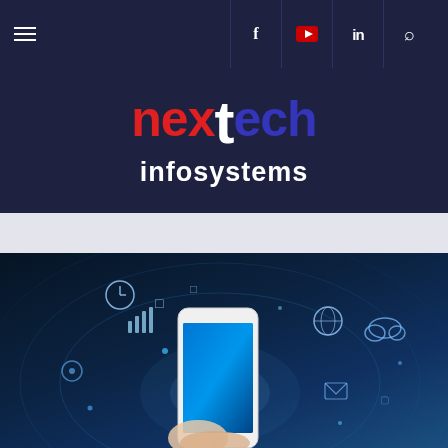nextech infosystems — navigation bar with hamburger menu, facebook, youtube, linkedin, search icons
[Figure (logo): nextech infosystems logo: 'nex' in red, 't' in white larger font, 'ech' in dark blue, 'infosystems' in white below, on dark navy background]
[Figure (photo): Hand holding a smartphone with digital technology icons floating around it — mobile app, social media, cloud, wifi symbols on a dark blue futuristic background]